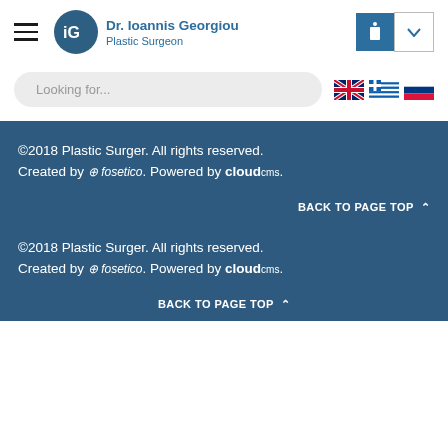[Figure (logo): Dr. Ioannis Georgiou Plastic Surgeon logo with circular iG icon and blue text]
Looking for...
[Figure (illustration): UK flag, Greek flag, and Russian flag language selector icons]
©2018 Plastic Surger. All rights reserved.
Created by ⓕ fosetico. Powered by cloud cms.
BACK TO PAGE TOP ⋀
©2018 Plastic Surger. All rights reserved.
Created by ⓕ fosetico. Powered by cloud cms.
BACK TO PAGE TOP ⋀